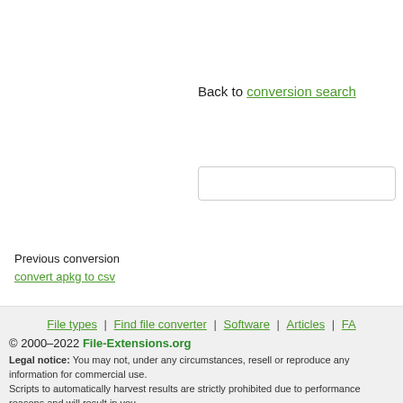Back to conversion search
Previous conversion
convert apkg to csv
File types | Find file converter | Software | Articles | FA...
© 2000–2022 File-Extensions.org
Legal notice: You may not, under any circumstances, resell or reproduce any information for commercial use... Scripts to automatically harvest results are strictly prohibited due to performance reasons and will result in you...